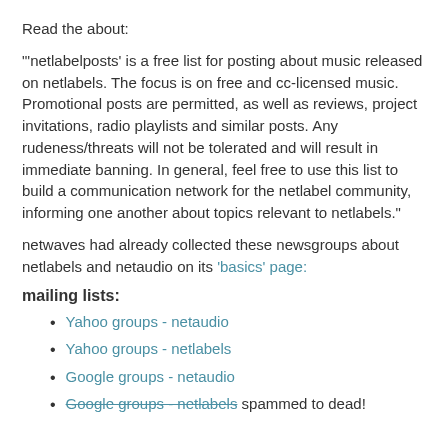Read the about:
"'netlabelposts' is a free list for posting about music released on netlabels. The focus is on free and cc-licensed music. Promotional posts are permitted, as well as reviews, project invitations, radio playlists and similar posts. Any rudeness/threats will not be tolerated and will result in immediate banning. In general, feel free to use this list to build a communication network for the netlabel community, informing one another about topics relevant to netlabels."
netwaves had already collected these newsgroups about netlabels and netaudio on its 'basics' page:
mailing lists:
Yahoo groups - netaudio
Yahoo groups - netlabels
Google groups - netaudio
Google groups - netlabels spammed to dead!